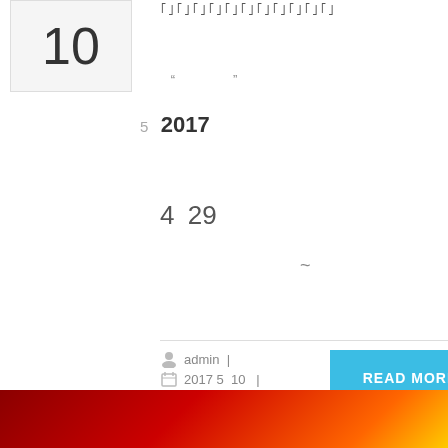[Figure (other): Date box with number 10]
｢｣｢｣｢｣｢｣｢｣｢｣｢｣｢｣｢｣｢｣｢｣｢｣
" "
5 2017
4 29
~
admin |
2017 5 10 |
No Comments |
Business, Health
READ MORE